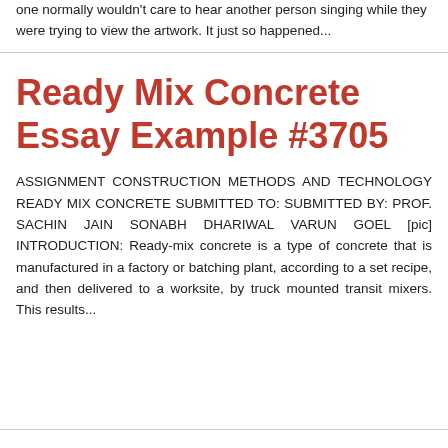one normally wouldn't care to hear another person singing while they were trying to view the artwork. It just so happened...
Ready Mix Concrete Essay Example #3705
ASSIGNMENT CONSTRUCTION METHODS AND TECHNOLOGY READY MIX CONCRETE SUBMITTED TO: SUBMITTED BY: PROF. SACHIN JAIN SONABH DHARIWAL VARUN GOEL [pic] INTRODUCTION: Ready-mix concrete is a type of concrete that is manufactured in a factory or batching plant, according to a set recipe, and then delivered to a worksite, by truck mounted transit mixers. This results...